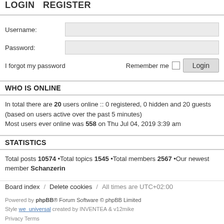LOGIN  •  REGISTER
Username:
Password:
I forgot my password   Remember me   Login
WHO IS ONLINE
In total there are 20 users online :: 0 registered, 0 hidden and 20 guests (based on users active over the past 5 minutes)
Most users ever online was 558 on Thu Jul 04, 2019 3:39 am
STATISTICS
Total posts 10574 •Total topics 1545 •Total members 2567 •Our newest member Schanzerin
Board index  /  Delete cookies  /  All times are UTC+02:00
Powered by phpBB® Forum Software © phpBB Limited
Style we_universal created by INVENTEA & v12mike
Privacy Terms